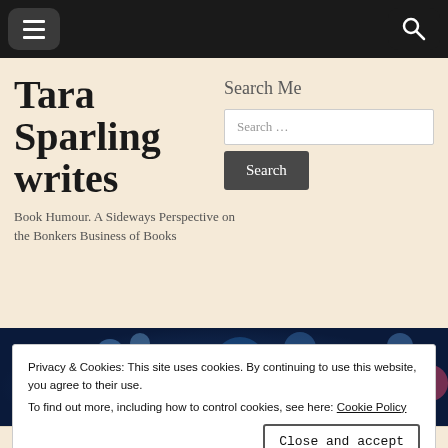[Figure (screenshot): Website screenshot of Tara Sparling writes blog page with navigation bar, site title, search widget, tagline, bokeh photo, cookie consent dialog, and category tags at bottom]
Tara Sparling writes
Search Me
Search ...
Search
Book Humour. A Sideways Perspective on the Bonkers Business of Books
Privacy & Cookies: This site uses cookies. By continuing to use this website, you agree to their use.
To find out more, including how to control cookies, see here: Cookie Policy
Close and accept
CREATING THE BESTSELLER, SALES & MARKETING TECHNIQUES